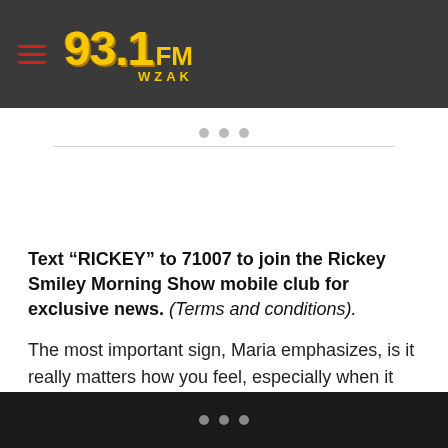93.1 FM WZAK
Text “RICKEY” to 71007 to join the Rickey Smiley Morning Show mobile club for exclusive news. (Terms and conditions).
The most important sign, Maria emphasizes, is it really matters how you feel, especially when it comes to your energy.